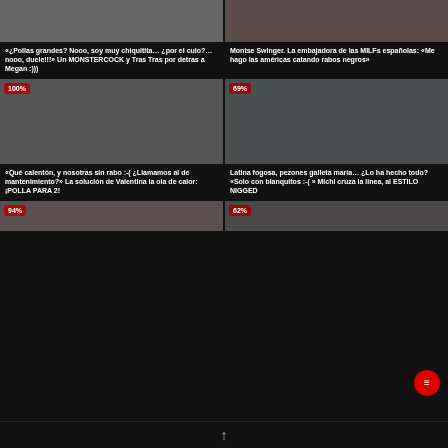[Figure (photo): Video thumbnail top-left, adult content]
[Figure (photo): Video thumbnail top-right, adult content]
«¿Pollas grandes? Nooo, soy muy chiquitita… ¿por el culo?… nooo, duele!!!» Un MONSTERCOCK y Tras Tras por detras a Megan :)))
Montse Swinger. La embajadora de las MILFs españolas: «Me hago las américas catando rabos negros»
[Figure (photo): Video thumbnail middle-left with 100% badge]
[Figure (photo): Video thumbnail middle-right with 69% badge]
«Qué calentón, y nosotras sin rabo :-( ¿Llamamos al de mantenimiento?» La solución de Valentina la ola de calor: ¡POLLA PARA 2!
Latina fogosa, pezones galleta maría… ¿Lo ha hecho todo? «Solo con blanquitos :-( » Michi cruza la línea, al ESTILO NIGGED
[Figure (photo): Video thumbnail bottom-left with 94% badge]
[Figure (photo): Video thumbnail bottom-right with 62% badge]
↑